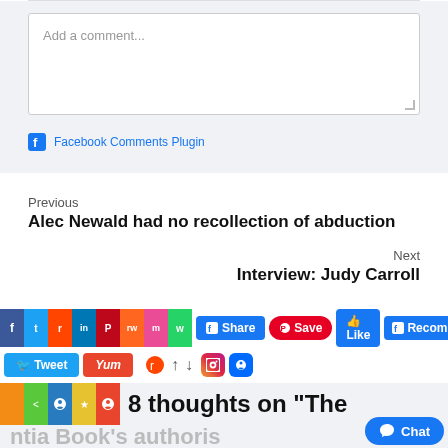Add a comment...
Facebook Comments Plugin
Previous
Alec Newald had no recollection of abduction
Next
Interview: Judy Carroll
[Figure (screenshot): Social media sharing buttons bar including Facebook Share, Pinterest Save, Facebook Like, Facebook Recommend buttons, and a second row with Twitter Tweet, Yummly Yum buttons, Reddit icon, up/down arrows, Instagram and Messenger icons, and a Messenger Chat bubble]
8 thoughts on “The
ntia Book’s authoris